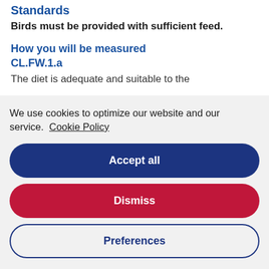Standards
Birds must be provided with sufficient feed.
How you will be measured
CL.FW.1.a
The diet is adequate and suitable to the
We use cookies to optimize our website and our service.  Cookie Policy
Accept all
Dismiss
Preferences